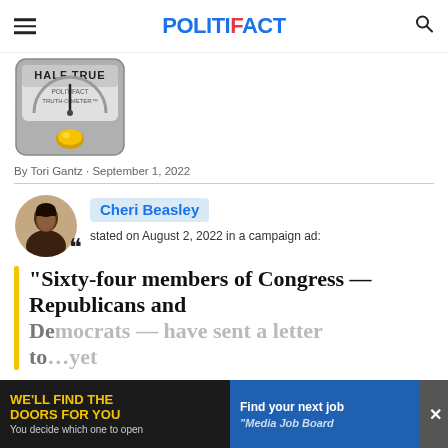POLITIFACT
[Figure (photo): PolitiFact Truth-O-Meter gauge showing 'Half True' rating with yellow indicator light]
By Tori Gantz · September 1, 2022
Cheri Beasley stated on August 2, 2022 in a campaign ad:
“Sixty-four members of Congress — Republicans and Democrats — have sent a letter to...yet
[Figure (other): Advertisement banner: WE'LL FIND THE DOORS FOR YOU - You decide which one to open / Find your next job - Media Job Board]